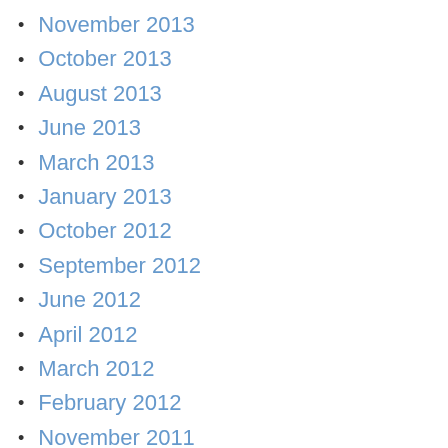November 2013
October 2013
August 2013
June 2013
March 2013
January 2013
October 2012
September 2012
June 2012
April 2012
March 2012
February 2012
November 2011
October 2011
May 2011
April 2011